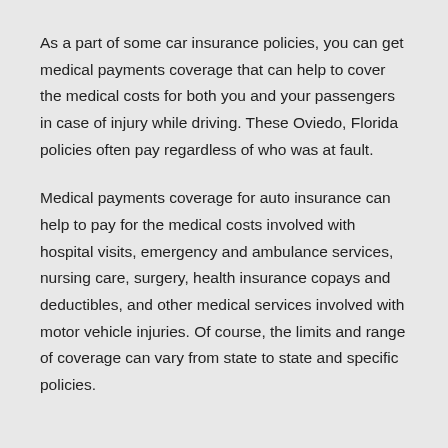As a part of some car insurance policies, you can get medical payments coverage that can help to cover the medical costs for both you and your passengers in case of injury while driving. These Oviedo, Florida policies often pay regardless of who was at fault.
Medical payments coverage for auto insurance can help to pay for the medical costs involved with hospital visits, emergency and ambulance services, nursing care, surgery, health insurance copays and deductibles, and other medical services involved with motor vehicle injuries. Of course, the limits and range of coverage can vary from state to state and specific policies.